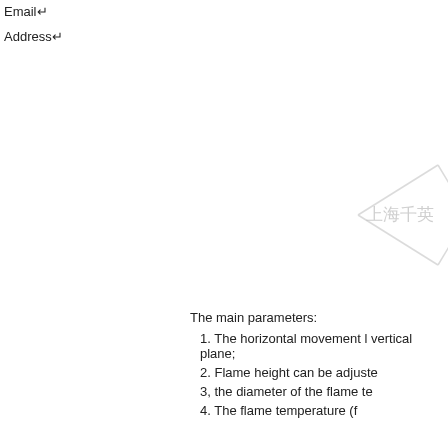Email↵
Address↵
[Figure (other): Watermark with Chinese text '上海千英' and diamond/arrow shape in light gray]
The main parameters:
1. The horizontal movement l vertical plane;
2. Flame height can be adjuste
3, the diameter of the flame te
4. The flame temperature (f